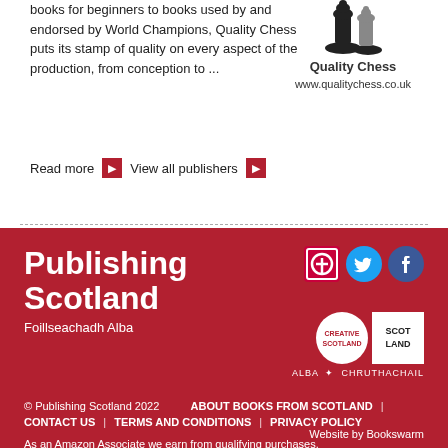books for beginners to books used by and endorsed by World Champions, Quality Chess puts its stamp of quality on every aspect of the production, from conception to ...
[Figure (logo): Quality Chess logo with chess pieces, text 'Quality Chess' and 'www.qualitychess.co.uk']
Read more ▶   View all publishers ▶
Publishing Scotland
Foillseachadh Alba
© Publishing Scotland 2022   ABOUT BOOKS FROM SCOTLAND | CONTACT US | TERMS AND CONDITIONS | PRIVACY POLICY
As an Amazon Associate we earn from qualifying purchases.
Website by Bookswarm